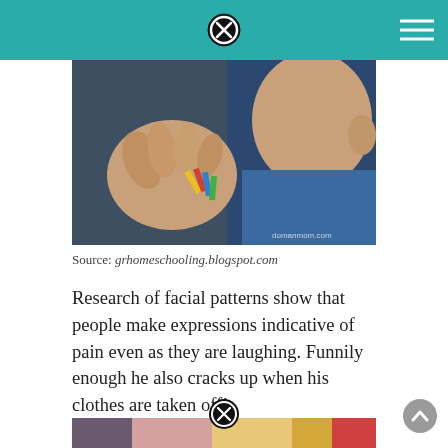[Figure (photo): Close-up of a young child's hands and face, child wearing a blue outfit, watermark 'domanmom.com' in bottom right]
Source: grhomeschooling.blogspot.com
Research of facial patterns show that people make expressions indicative of pain even as they are laughing. Funnily enough he also cracks up when his clothes are taken off!
[Figure (photo): Colorful children's toys and clothing items laid out]